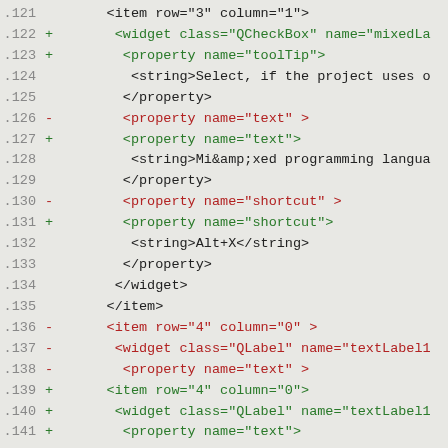[Figure (screenshot): Code diff view showing XML lines 121-141 with line numbers, +/- markers, and syntax-colored text on a light gray background.]